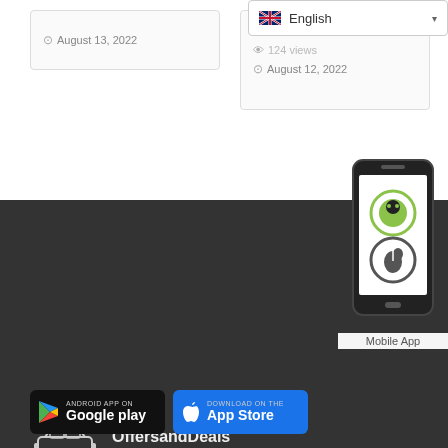August 13, 2022
August 12, 2022
[Figure (screenshot): Mobile app icon showing Android and Apple logos on a smartphone]
[Figure (logo): OffersandDeals - Classified Market Place logo with car icon]
OffersandDeals
Classified Market Place
Buy. Sell. Simple. Join the largest mobile marketplace for local buyers and sellers!
[Figure (logo): Google Play store download badge]
[Figure (logo): Apple App Store download badge]